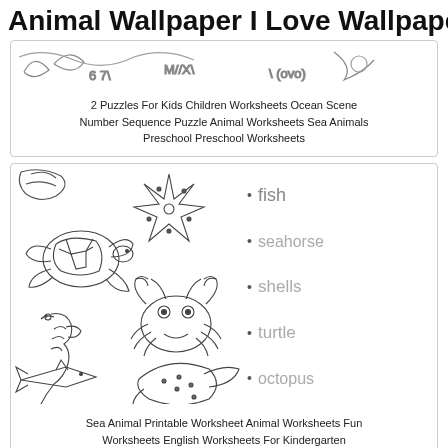Animal Wallpaper I Love Wallpaper
[Figure (illustration): Partial view of an ocean scene number sequence puzzle worksheet for kids, showing sketched sea animals and numbers at the top.]
2 Puzzles For Kids Children Worksheets Ocean Scene Number Sequence Puzzle Animal Worksheets Sea Animals Preschool Preschool Worksheets
[Figure (illustration): Sea animal printable worksheet showing outline drawings of a turtle, starfish, crab, seahorse, fish/shark, and stingray on the left, with a bulleted word list on the right: fish, seahorse, shells, turtle, octopus.]
Sea Animal Printable Worksheet Animal Worksheets Fun Worksheets English Worksheets For Kindergarten